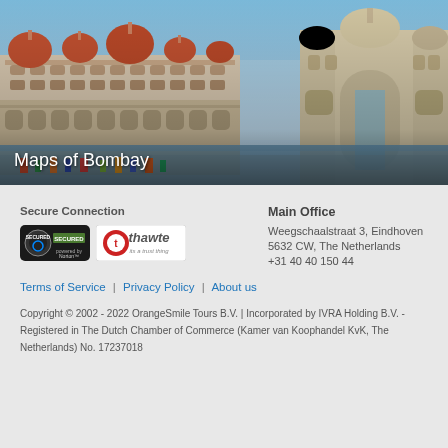[Figure (photo): Photograph of the Taj Mahal Palace hotel and Gateway of India in Mumbai (Bombay), waterfront view with blue sky]
Maps of Bombay
Secure Connection
[Figure (logo): Norton Secured badge and Thawte its a trust thing badge]
Main Office
Weegschaalstraat 3, Eindhoven
5632 CW, The Netherlands
+31 40 40 150 44
Terms of Service | Privacy Policy | About us
Copyright © 2002 - 2022 OrangeSmile Tours B.V. | Incorporated by IVRA Holding B.V. - Registered in The Dutch Chamber of Commerce (Kamer van Koophandel KvK, The Netherlands) No. 17237018